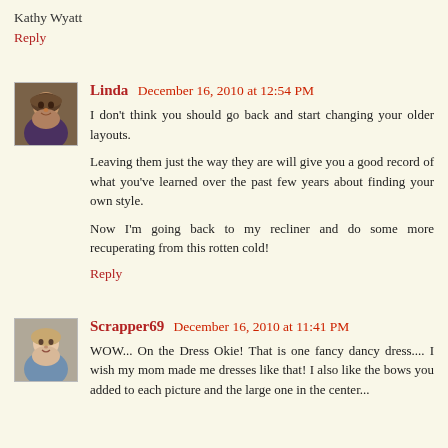Kathy Wyatt
Reply
Linda  December 16, 2010 at 12:54 PM
I don't think you should go back and start changing your older layouts.

Leaving them just the way they are will give you a good record of what you've learned over the past few years about finding your own style.

Now I'm going back to my recliner and do some more recuperating from this rotten cold!
Reply
Scrapper69  December 16, 2010 at 11:41 PM
WOW... On the Dress Okie! That is one fancy dancy dress.... I wish my mom made me dresses like that! I also like the bows you added to each picture and the large one in the center...